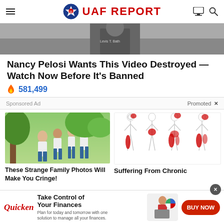UAF REPORT
[Figure (photo): Partial photo of a person wearing a dark jacket, cropped at head/shoulder level]
Nancy Pelosi Wants This Video Destroyed — Watch Now Before It's Banned
🔥 581,499
Sponsored Ad
Promoted ×
[Figure (photo): Family photo showing four people in white shirts sitting outdoors near a tree]
These Strange Family Photos Will Make You Cringe!
[Figure (illustration): Medical illustration showing body diagrams with red highlighted pain areas on legs and hips]
Suffering From Chronic
[Figure (infographic): Quicken advertisement: Take Control of Your Finances — Plan for today and tomorrow with one solution to manage all your finances. BUY NOW button.]